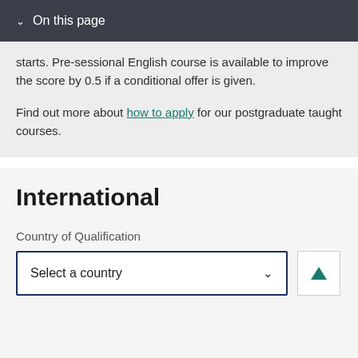On this page
starts. Pre-sessional English course is available to improve the score by 0.5 if a conditional offer is given.
Find out more about how to apply for our postgraduate taught courses.
International
Country of Qualification
Select a country